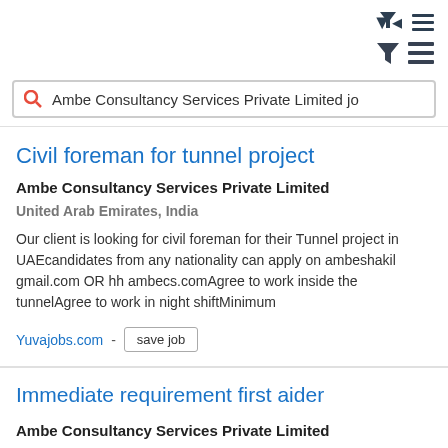[Figure (screenshot): Top bar with filter and menu icons]
Ambe Consultancy Services Private Limited jo
Civil foreman for tunnel project
Ambe Consultancy Services Private Limited
United Arab Emirates, India
Our client is looking for civil foreman for their Tunnel project in UAEcandidates from any nationality can apply on ambeshakil gmail.com OR hh ambecs.comAgree to work inside the tunnelAgree to work in night shiftMinimum
Yuvajobs.com - save job
Immediate requirement first aider
Ambe Consultancy Services Private Limited